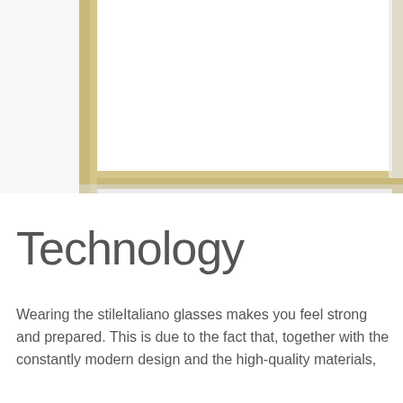[Figure (illustration): Partial view of a framed rectangular element with gold/tan border and white interior, visible in the upper portion of the page, cropped at top and right edges.]
Technology
Wearing the stileItaliano glasses makes you feel strong and prepared. This is due to the fact that, together with the constantly modern design and the high-quality materials,